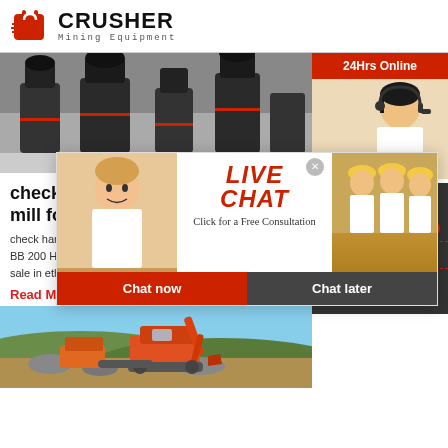[Figure (logo): Crusher Mining Equipment logo with red shopping bag icon and bold CRUSHER text]
[Figure (photo): Industrial mining machines/crushers in a factory setting]
check harga sekarang stone ball mill for s
check harga Harga Seka crusher mob China harga stone BB 200 Harga Stone Crusher Mobile Crus stone crusher for sale in ethiopia YouTube Get A Service Hot Products
Read More
[Figure (photo): Orange excavator/construction equipment at a quarry or mining site]
[Figure (screenshot): Live Chat popup overlay with workers in hard hats and support operator. Contains LIVE CHAT title, Click for a Free Consultation text, Chat now and Chat later buttons]
24Hrs Online
[Figure (photo): Female customer support operator with headset]
Need questions & suggestion?
Chat Now
Enquiry
limingjlmofen@sina.com